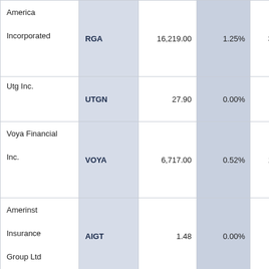| Company | Ticker | Value1 | Pct1 | Value2 | Pct2 |
| --- | --- | --- | --- | --- | --- |
| RGA America Incorporated | RGA | 16,219.00 | 1.25% | 3,887.00 | 1.03% |
| Utg Inc. | UTGN | 27.90 | 0.00% | 5.26 | 0.00% |
| Voya Financial Inc. | VOYA | 6,717.00 | 0.52% | 1,519.00 | 0.40% |
| Amerinst Insurance Group Ltd | AIGT | 1.48 | 0.00% | 0.48 | 0.00% |